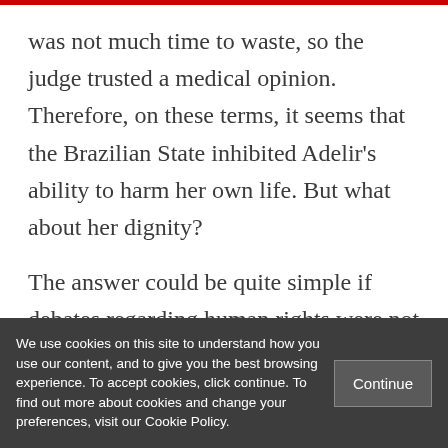was not much time to waste, so the judge trusted a medical opinion. Therefore, on these terms, it seems that the Brazilian State inhibited Adelir's ability to harm her own life. But what about her dignity?
The answer could be quite simple if debates regarding human rights were not so complex. Some people say human dignity sustains all fundamental rights but there are
We use cookies on this site to understand how you use our content, and to give you the best browsing experience. To accept cookies, click continue. To find out more about cookies and change your preferences, visit our Cookie Policy.